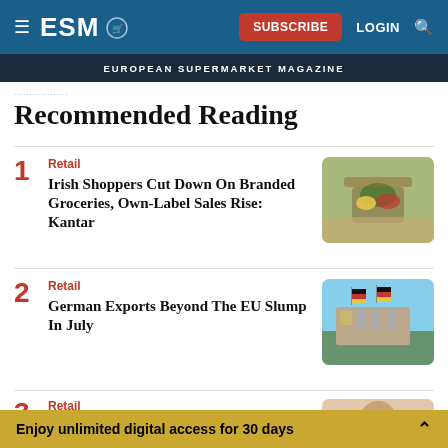ESM | EUROPEAN SUPERMARKET MAGAZINE | SUBSCRIBE | LOGIN
Recommended Reading
1 Retail — Irish Shoppers Cut Down On Branded Groceries, Own-Label Sales Rise: Kantar
2 Retail — German Exports Beyond The EU Slump In July
3 Retail
Enjoy unlimited digital access for 30 days